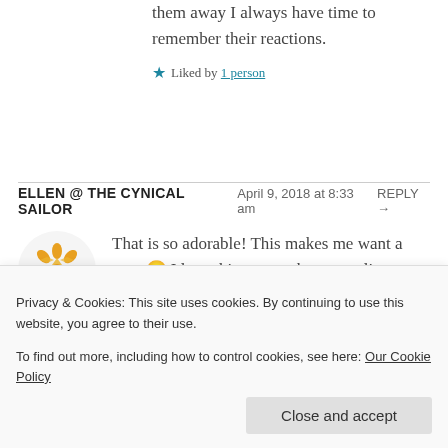them away I always have time to remember their reactions.
Liked by 1 person
ELLEN @ THE CYNICAL SAILOR   April 9, 2018 at 8:33 am   REPLY →
[Figure (illustration): Decorative snowflake/quilt pattern avatar in orange/yellow]
That is so adorable! This makes me want a goat 🙂 I love this approach to recycling.
Liked by 1 person
Privacy & Cookies: This site uses cookies. By continuing to use this website, you agree to their use. To find out more, including how to control cookies, see here: Our Cookie Policy
Close and accept